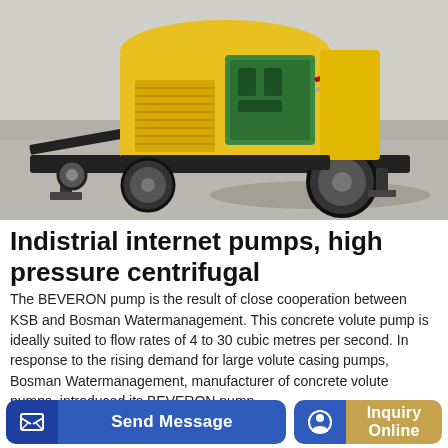[Figure (photo): Yellow industrial diesel-powered concrete pump on a wheeled trailer frame, with a green engine visible, hoses, and a large pneumatic tire, photographed indoors on a concrete floor.]
Indistrial internet pumps, high pressure centrifugal
The BEVERON pump is the result of close cooperation between KSB and Bosman Watermanagement. This concrete volute pump is ideally suited to flow rates of 4 to 30 cubic metres per second. In response to the rising demand for large volute casing pumps, Bosman Watermanagement, manufacturer of concrete volute pumps, introduced its BEVERON pump.
Send Message
Inquiry Online